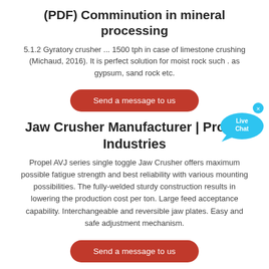(PDF) Comminution in mineral processing
5.1.2 Gyratory crusher ... 1500 tph in case of limestone crushing (Michaud, 2016). It is perfect solution for moist rock such . as gypsum, sand rock etc.
[Figure (other): Red rounded button labeled 'Send a message to us']
Jaw Crusher Manufacturer | Propel Industries
Propel AVJ series single toggle Jaw Crusher offers maximum possible fatigue strength and best reliability with various mounting possibilities. The fully-welded sturdy construction results in lowering the production cost per ton. Large feed acceptance capability. Interchangeable and reversible jaw plates. Easy and safe adjustment mechanism.
[Figure (other): Red rounded button labeled 'Send a message to us']
[Figure (illustration): Live Chat bubble icon in blue with 'Live Chat' text and a small X close button]